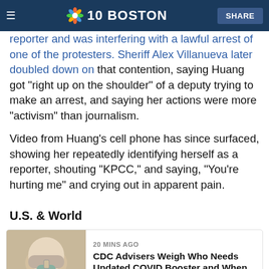NBC 10 Boston | SHARE
reporter and was interfering with a lawful arrest of one of the protesters. Sheriff Alex Villanueva later doubled down on that contention, saying Huang got "right up on the shoulder" of a deputy trying to make an arrest, and saying her actions were more "activism" than journalism.
Video from Huang's cell phone has since surfaced, showing her repeatedly identifying herself as a reporter, shouting "KPCC," and saying, "You're hurting me" and crying out in apparent pain.
U.S. & World
[Figure (photo): Person in mask holding a small item with gloved hand]
20 MINS AGO
CDC Advisers Weigh Who Needs Updated COVID Booster and When
[Figure (photo): Street scene photo]
2 HOURS AGO